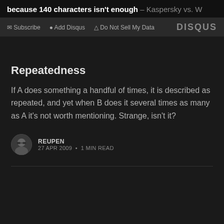because 140 characters isn't enough – Kaspersky vs. W
Subscribe  Add Disqus  Do Not Sell My Data  DISQUS
Repeatedness
If A does something a handful of times, it is described as repeated, and yet when B does it several times as many as A it's not worth mentioning. Strange, isn't it?
REUPEN
27 APR 2009 • 1 MIN READ